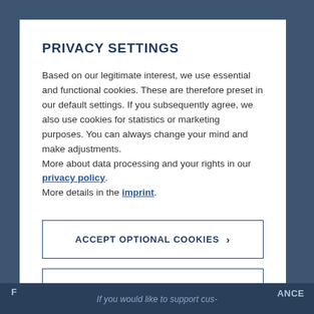PRIVACY SETTINGS
Based on our legitimate interest, we use essential and functional cookies. These are therefore preset in our default settings. If you subsequently agree, we also use cookies for statistics or marketing purposes. You can always change your mind and make adjustments.
More about data processing and your rights in our privacy policy.
More details in the imprint.
ACCEPT OPTIONAL COOKIES  >
REFUSE OPTIONAL COOKIES  >
If you would like to support cus-